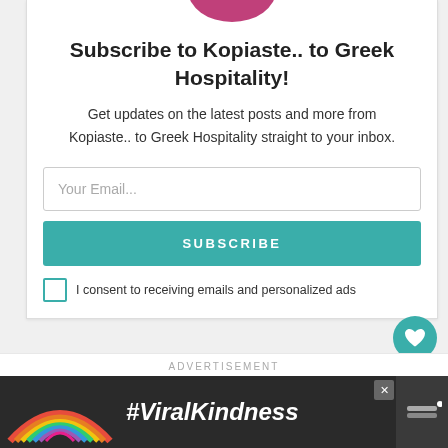[Figure (illustration): Partial pink/magenta circular logo at top center of subscription card]
Subscribe to Kopiaste.. to Greek Hospitality!
Get updates on the latest posts and more from Kopiaste.. to Greek Hospitality straight to your inbox.
Your Email...
SUBSCRIBE
I consent to receiving emails and personalized ads
336
WHAT'S NEXT → Rocket Dakos Salad with...
ADVERTISEMENT
[Figure (infographic): Dark advertisement banner showing rainbow graphic and #ViralKindness text]